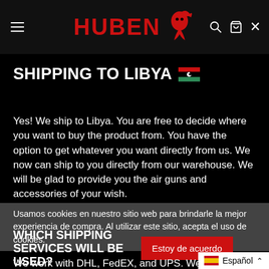HUBEN [dragon logo] — navigation header with menu icon, search icon, cart icon, and close icon
SHIPPING TO LIBYA 🇱🇾
Yes! We ship to Libya. You are free to decide where you want to buy the product from. You have the option to get whatever you want directly from us. We now can ship to you directly from our warehouse. We will be glad to provide you the air guns and accessories of your wish.
Usamos cookies en nuestro sitio web para brindarle la mejor experiencia de compra. Al utilizar este sitio, acepta el uso de cookies.
WHICH SHIPPING SERVICES WILL BE USED?
We work with DHL, FedEX, and UPS. We w...